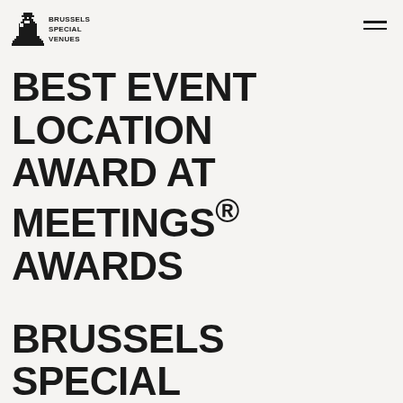BRUSSELS SPECIAL VENUES
BEST EVENT LOCATION AWARD AT MEETINGS® AWARDS
BRUSSELS SPECIAL